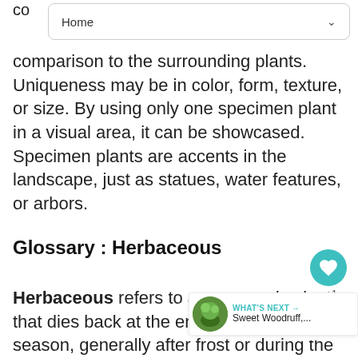Home
comparison to the surrounding plants. Uniqueness may be in color, form, texture, or size. By using only one specimen plant in a visual area, it can be showcased. Specimen plants are accents in the landscape, just as statues, water features, or arbors.
Glossary : Herbaceous
Herbaceous refers to a non-woody plant that dies back at the end of its growing season, generally after frost or during the fall of the year. The rootstock of perennials will overwinter, providing the plant is hardy in that area, and resume growth in the spring.